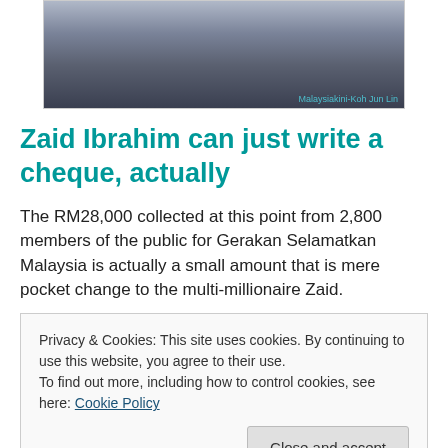[Figure (photo): Photo of people, with credit 'Malaysiakini-Koh Jun Lin' in bottom right corner]
Zaid Ibrahim can just write a cheque, actually
The RM28,000 collected at this point from 2,800 members of the public for Gerakan Selamatkan Malaysia is actually a small amount that is mere pocket change to the multi-millionaire Zaid.
Privacy & Cookies: This site uses cookies. By continuing to use this website, you agree to their use.
To find out more, including how to control cookies, see here: Cookie Policy
[Close and accept]